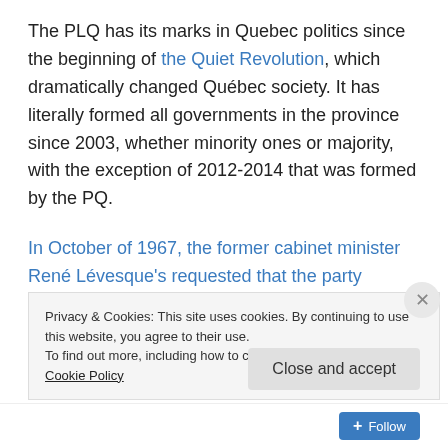The PLQ has its marks in Quebec politics since the beginning of the Quiet Revolution, which dramatically changed Québec society. It has literally formed all governments in the province since 2003, whether minority ones or majority, with the exception of 2012-2014 that was formed by the PQ.
In October of 1967, the former cabinet minister René Lévesque's requested that the party endorse his plan for sovereignty association , which the PLQ refused to do. As a result, some Liberals, including Senior Cabinet Minister
Privacy & Cookies: This site uses cookies. By continuing to use this website, you agree to their use.
To find out more, including how to control cookies, see here: Cookie Policy
Close and accept